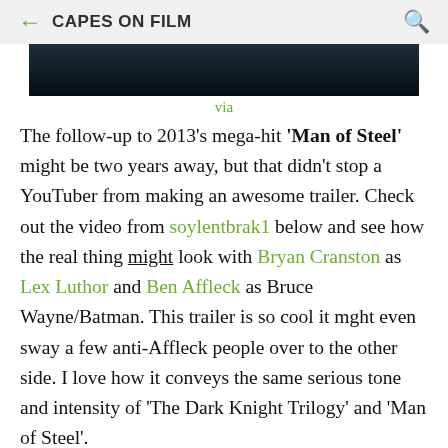← CAPES ON FILM 🔍
[Figure (photo): Dark banner image, likely a movie still or header graphic with dark teal/black gradient tones]
via
The follow-up to 2013's mega-hit 'Man of Steel' might be two years away, but that didn't stop a YouTuber from making an awesome trailer. Check out the video from soylentbrak1 below and see how the real thing might look with Bryan Cranston as Lex Luthor and Ben Affleck as Bruce Wayne/Batman. This trailer is so cool it mght even sway a few anti-Affleck people over to the other side. I love how it conveys the same serious tone and intensity of 'The Dark Knight Trilogy' and 'Man of Steel'.